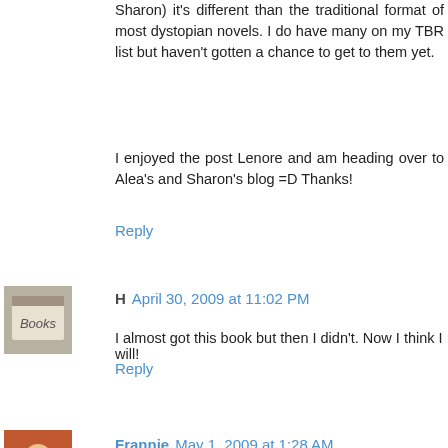Sharon) it's different than the traditional format of most dystopian novels. I do have many on my TBR list but haven't gotten a chance to get to them yet.
I enjoyed the post Lenore and am heading over to Alea's and Sharon's blog =D Thanks!
Reply
[Figure (photo): Avatar image for commenter H, showing a books image]
H   April 30, 2009 at 11:02 PM
I almost got this book but then I didn't. Now I think I will!
Reply
[Figure (photo): Avatar image for commenter Frannie]
Frannie   May 1, 2009 at 1:28 AM
this books just now is publishing in spanish. I waiting for read this book, have a nice look. I Love the plot is very interesting.
So, ago time I visit your blog but no comment nothing. But now, I here, mi first comment, an d the first of more, very more :)